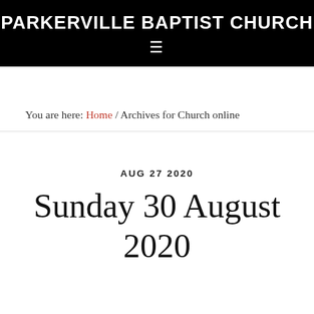PARKERVILLE BAPTIST CHURCH
You are here: Home / Archives for Church online
AUG 27 2020
Sunday 30 August 2020